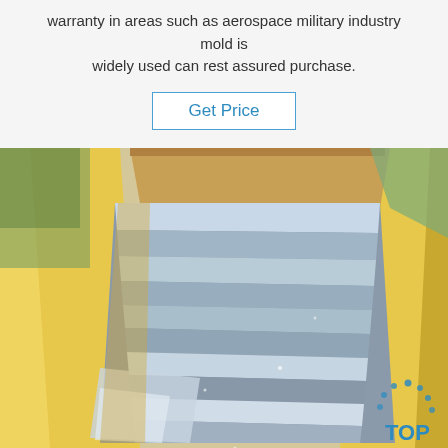warranty in areas such as aerospace military industry mold is widely used can rest assured purchase.
Get Price
[Figure (photo): Stainless steel or aluminum sheets/coils stacked and packaged with yellow cardboard protection inside a wooden crate with plastic wrapping, showing reflective metal surface. A blue 'TOP' logo with dots is visible in the lower right corner.]